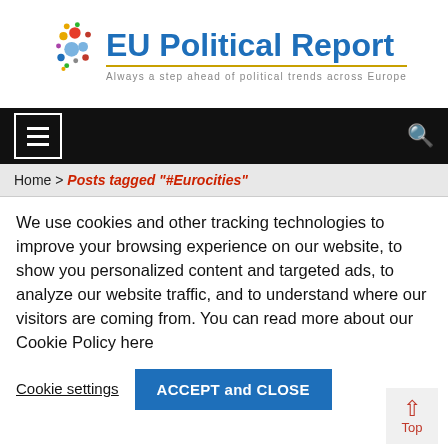[Figure (logo): EU Political Report logo with blue crescent moon shape and colorful dots, with text 'EU Political Report' in blue bold and subtitle 'Always a step ahead of political trends across Europe']
[Figure (screenshot): Black navigation bar with hamburger menu icon on left and search icon on right]
Home > Posts tagged "#Eurocities"
We use cookies and other tracking technologies to improve your browsing experience on our website, to show you personalized content and targeted ads, to analyze our website traffic, and to understand where our visitors are coming from. You can read more about our Cookie Policy here
Cookie settings
ACCEPT and CLOSE